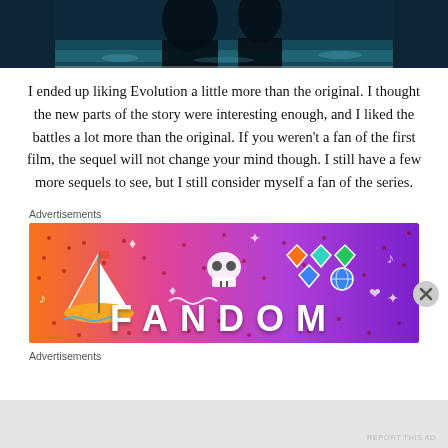[Figure (photo): Partial movie still — dark teal/blue cinematic scene, bottom portion visible, appears to show figures near water]
I ended up liking Evolution a little more than the original. I thought the new parts of the story were interesting enough, and I liked the battles a lot more than the original. If you weren't a fan of the first film, the sequel will not change your mind though. I still have a few more sequels to see, but I still consider myself a fan of the series.
Advertisements
[Figure (logo): Fandom advertisement banner with colorful gradient background (orange to purple), featuring a sailboat sticker, skull, gem/dice icons, musical notes, and the word FANDOM in large white letters]
Advertisements